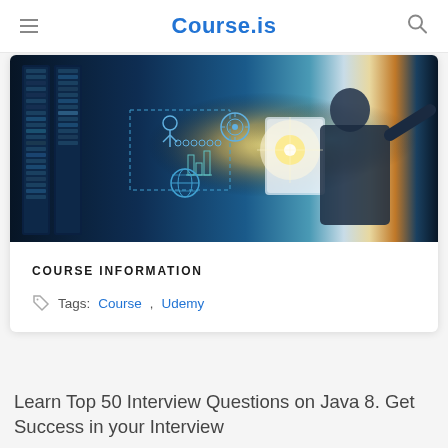Course.is
[Figure (photo): A professional woman in a business suit interacting with a futuristic digital data interface showing technology icons, server racks, and holographic displays]
COURSE INFORMATION
Tags: Course, Udemy
Learn Top 50 Interview Questions on Java 8. Get Success in your Interview